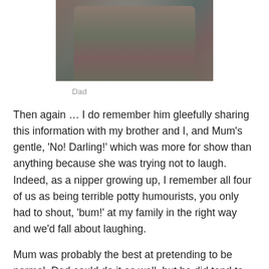[Figure (photo): A photo of a person (Dad) wearing a grey/brown cardigan, partially cropped showing torso area]
Dad
Then again … I do remember him gleefully sharing this information with my brother and I, and Mum's gentle, 'No! Darling!' which was more for show than anything because she was trying not to laugh. Indeed, as a nipper growing up, I remember all four of us as being terrible potty humourists, you only had to shout, 'bum!' at my family in the right way and we'd fall about laughing.
Mum was probably the best at pretending to be normal, Dad could do it as well, but he did tend to be a bit forgetful which blew it all apart at the seams sometimes. On the up